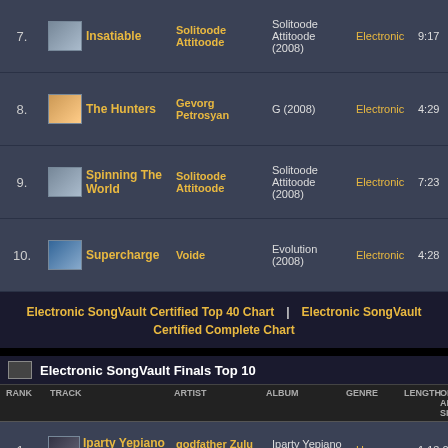| RANK | TRACK | ARTIST | ALBUM | GENRE | LENGTH | ON AIR SINCE |
| --- | --- | --- | --- | --- | --- | --- |
| 7. | Insatiable | Solitoode Attitoode | Solitoode Attitoode (2008) | Electronic | 9:17 | Aug 18, 2009 |
| 8. | The Hunters | Gevorg Petrosyan | G (2008) | Electronic | 4:29 | Apr 7, 2009 |
| 9. | Spinning The World | Solitoode Attitoode | Solitoode Attitoode (2008) | Electronic | 7:23 | Jul 21, 2009 |
| 10. | Supercharge | Voide | Evolution (2008) | Electronic | 4:28 | Jun 17, 2008 |
Electronic SongVault Certified Top 40 Chart  |  Electronic SongVault Certified Complete Chart
Electronic SongVault Finals Top 10
| RANK | TRACK | ARTIST | ALBUM | GENRE | LENGTH | ON AIR SINCE |
| --- | --- | --- | --- | --- | --- | --- |
| 1. | Iparty Yepiano vol.1 (Mix Tap) | godfather Zulu christopher | Iparty Yepiano (2019) | House | 1:13:02 | Jul 14, 2020 |
| 2. | one day | snizzy da dj mpumi | alone (2019) | Electronic | 3:37 | Jul 14, 2020 |
| 3. | Where Are You Now | Tiga Maine | Single (2019) | House | 4:29 | Jul 14, 2020 |
| 4. | Gqom Series | Dej Thamie West | 2019 | House | 5:02 | Jul 14, 2020 |
| 5. | Syntari | Eftos | Syntari (2019) | Ambient | 1:17 | Jul 14, 2020 |
| 6. |  | Princely | [?] |  |  |  |